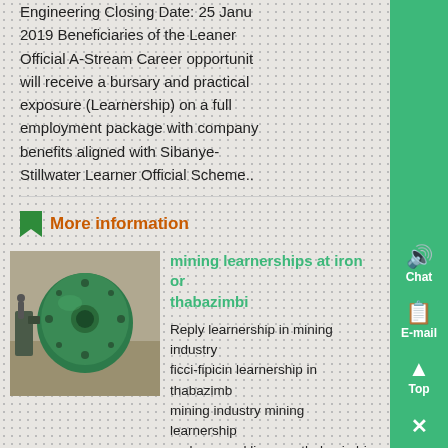Engineering Closing Date: 25 January 2019 Beneficiaries of the Leaner Official A-Stream Career opportunity will receive a bursary and practical exposure (Learnership) on a full employment package with company benefits aligned with Sibanye-Stillwater Learner Official Scheme..
More information
[Figure (photo): Industrial green mining machinery/gearbox in a warehouse setting]
mining learnerships at iron ore thabazimbi
Reply learnership in mining industry ficci-fipicin learnership in thabazimbi mining industry mining learnership underground limpopo thabazimbi mining is offering a number learnerships in